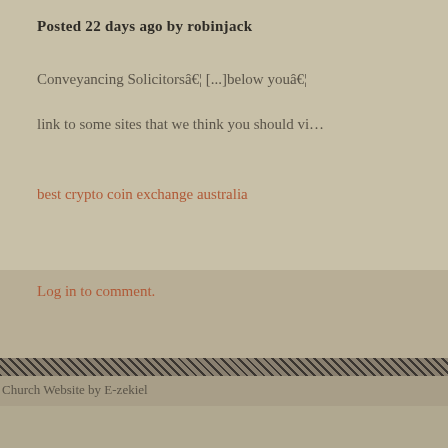Posted 22 days ago by robinjack
Conveyancing Solicitors… [...]below you… link to some sites that we think you should vi…
best crypto coin exchange australia
Log in to comment.
Church Website by E-zekiel